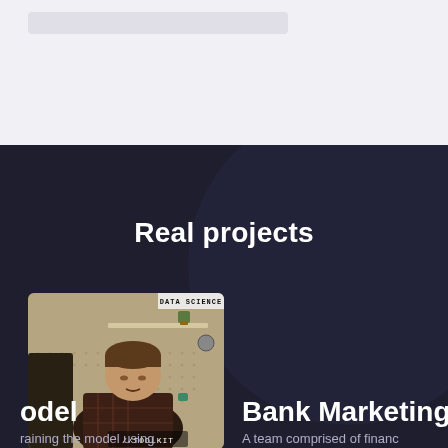[Figure (screenshot): Top navigation bar area with light grey/white background and a search bar element]
Real projects
[Figure (photo): Video thumbnail showing a person sitting at a desk with a pegboard background. Top label reads 'DATA SCIENCE' and bottom label reads '//TOOLKIT']
odel
Bank Marketing
raining the model using
A team comprised of financ